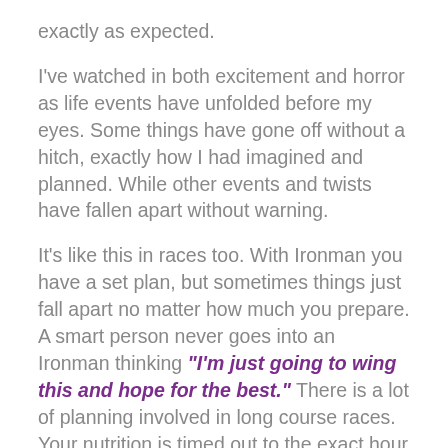exactly as expected.
I've watched in both excitement and horror as life events have unfolded before my eyes. Some things have gone off without a hitch, exactly how I had imagined and planned. While other events and twists have fallen apart without warning.
It's like this in races too. With Ironman you have a set plan, but sometimes things just fall apart no matter how much you prepare. A smart person never goes into an Ironman thinking “I’m just going to wing this and hope for the best.” There is a lot of planning involved in long course races. Your nutrition is timed out to the exact hour and mile. Your paces are calculated with fluid intake. You have race plans A, B and C regarding weather and heat. You train. You plan.